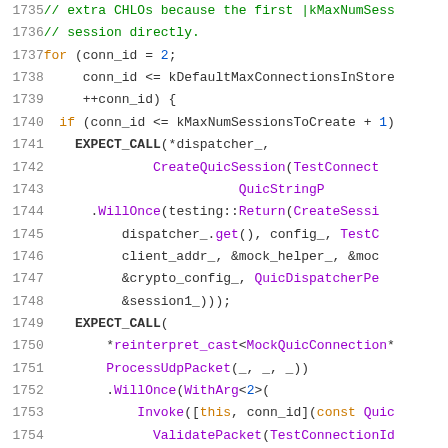Source code listing lines 1735-1755, C++ test code with EXPECT_CALL macros for QuicDispatcher session creation and UDP packet processing.